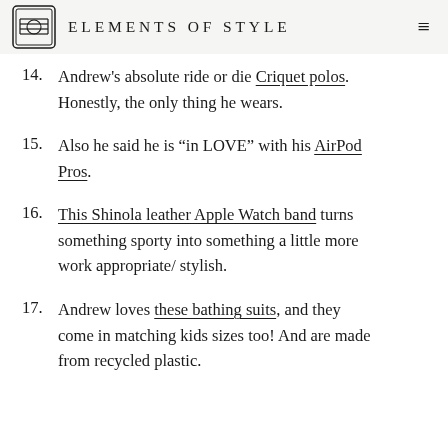ELEMENTS OF STYLE
14. Andrew's absolute ride or die Criquet polos. Honestly, the only thing he wears.
15. Also he said he is “in LOVE” with his AirPod Pros.
16. This Shinola leather Apple Watch band turns something sporty into something a little more work appropriate/ stylish.
17. Andrew loves these bathing suits, and they come in matching kids sizes too! And are made from recycled plastic.